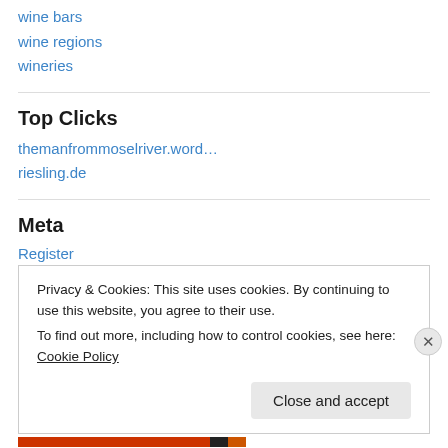wine bars
wine regions
wineries
Top Clicks
themanfrommoselriver.word…
riesling.de
Meta
Register
Privacy & Cookies: This site uses cookies. By continuing to use this website, you agree to their use.
To find out more, including how to control cookies, see here: Cookie Policy
Close and accept